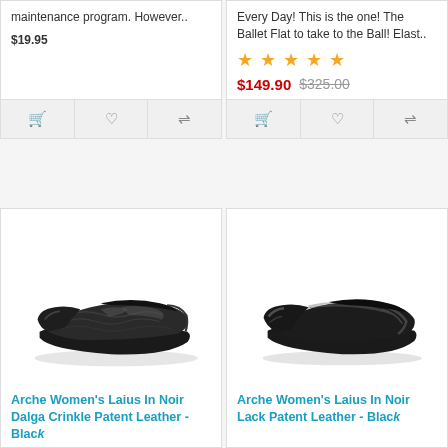maintenance program. However..
$19.95
Every Day! This is the one! The Ballet Flat to take to the Ball! Elast..
★★★★★
$149.90  $325.00
[Figure (photo): Black crinkle patent leather ballet flat shoe - Arche Women's Laius In Noir Dalga Crinkle Patent Leather - Black]
Arche Women's Laius In Noir Dalga Crinkle Patent Leather - Black
[Figure (photo): Black patent leather ballet flat shoe - Arche Women's Laius In Noir Lack Patent Leather - Black]
Arche Women's Laius In Noir Lack Patent Leather - Black